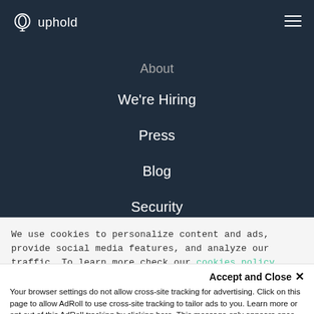[Figure (logo): Uphold logo with circular icon and text 'uphold']
About
We're Hiring
Press
Blog
Security
Help
FAQ & Support
We use cookies to personalize content and ads, provide social media features, and analyze our traffic. To learn more check our cookies policy.
Accept and Close ×
Your browser settings do not allow cross-site tracking for advertising. Click on this page to allow AdRoll to use cross-site tracking to tailor ads to you. Learn more or opt out of this AdRoll tracking by clicking here. This message only appears once.